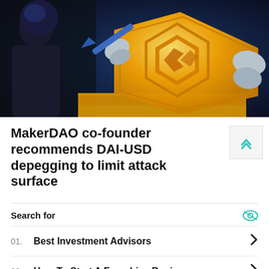[Figure (illustration): Crypto themed illustration showing a figure holding a screwdriver/key attempting to unlock or manipulate a large gold cryptocurrency coin with chain-link design, set against a dark blue background. Stylized digital art.]
MakerDAO co-founder recommends DAI-USD depegging to limit attack surface
Search for
01. Best Investment Advisors
02. How To Start A Franchise Business
Yahoo! Search | Sponsored